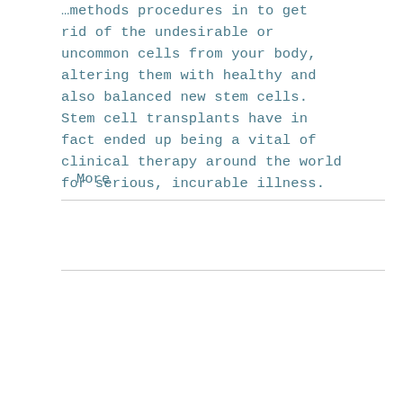…methods procedures in to get rid of the undesirable or uncommon cells from your body, altering them with healthy and also balanced new stem cells. Stem cell transplants have in fact ended up being a vital of clinical therapy around the world for serious, incurable illness.
More